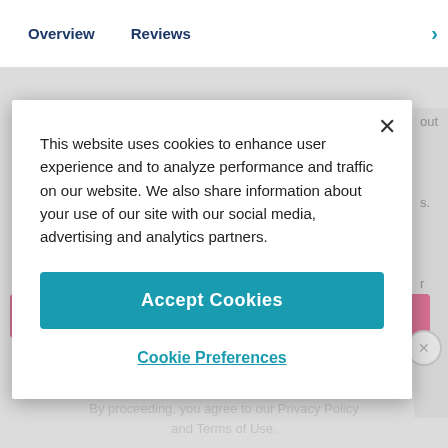Overview   Reviews
This website uses cookies to enhance user experience and to analyze performance and traffic on our website. We also share information about your use of our site with our social media, advertising and analytics partners.
Accept Cookies
Cookie Preferences
ADVERTISEMENT
By proceeding, you agree to our Privacy Policy and Terms of Use.